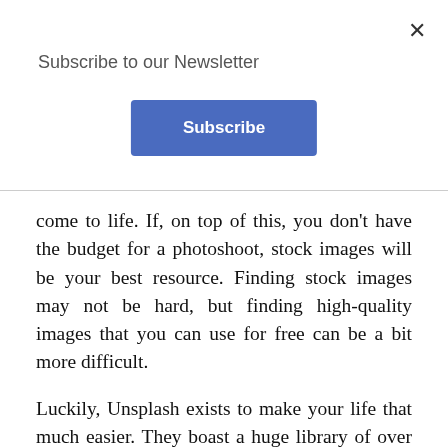Subscribe to our Newsletter
[Figure (other): Subscribe button - blue rectangular button with white bold text 'Subscribe']
come to life. If, on top of this, you don't have the budget for a photoshoot, stock images will be your best resource. Finding stock images may not be hard, but finding high-quality images that you can use for free can be a bit more difficult.
Luckily, Unsplash exists to make your life that much easier. They boast a huge library of over 1,000,000 images that you can use as you please. This means tons of photos you can use to make social media posts that will attract the attention you want. Since they have so many graphics to choose from, you'll